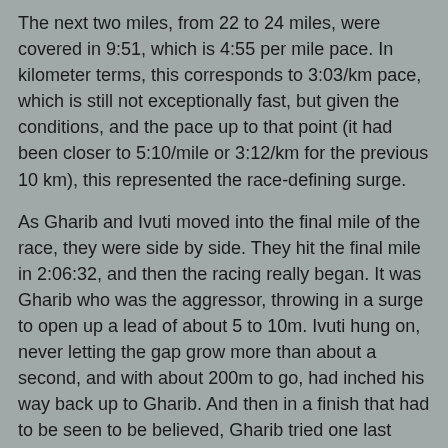The next two miles, from 22 to 24 miles, were covered in 9:51, which is 4:55 per mile pace. In kilometer terms, this corresponds to 3:03/km pace, which is still not exceptionally fast, but given the conditions, and the pace up to that point (it had been closer to 5:10/mile or 3:12/km for the previous 10 km), this represented the race-defining surge.
As Gharib and Ivuti moved into the final mile of the race, they were side by side. They hit the final mile in 2:06:32, and then the racing really began. It was Gharib who was the aggressor, throwing in a surge to open up a lead of about 5 to 10m. Ivuti hung on, never letting the gap grow more than about a second, and with about 200m to go, had inched his way back up to Gharib. And then in a finish that had to be seen to be believed, Gharib tried one last move, opened a tiny gap, Ivuti responded, pulled along side and then inched (literally) his way past. The official verdict, delivered a little later because it was too close to call, was that Ivuti of Kenya was the winner by that incredibly small margin. The final mile was covered in 4:39, a fitting finish to an incredible race.
What is in 5 one-hundreths of a second? Well, apart from